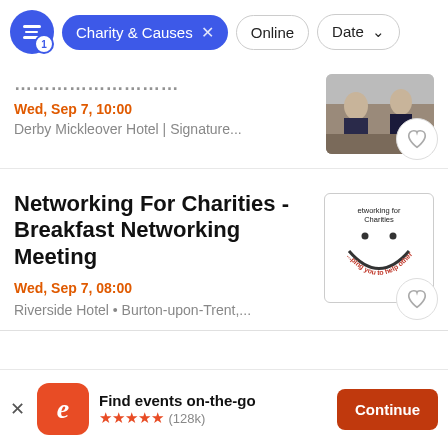[Figure (screenshot): Filter bar with: filter icon button with badge '1', 'Charity & Causes x' active pill, 'Online' outline pill, 'Date v' outline pill]
Wed, Sep 7, 10:00
Derby Mickleover Hotel | Signature...
[Figure (photo): Photo of people sitting, partial view]
Networking For Charities - Breakfast Networking Meeting
Wed, Sep 7, 08:00
Riverside Hotel • Burton-upon-Trent,...
[Figure (logo): Networking for Charities logo — smiley face with text 'helping you to help others']
Find events on-the-go
★★★★★ (128k)